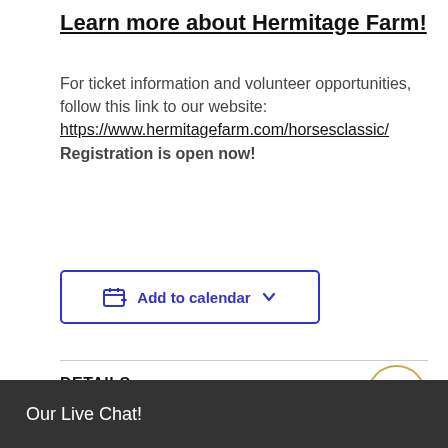Learn more about Hermitage Farm!
For ticket information and volunteer opportunities, follow this link to our website: https://www.hermitagefarm.com/horsesclassic/ Registration is open now!
[Figure (other): Add to calendar button with dropdown arrow]
DETAILS
Our Live Chat!